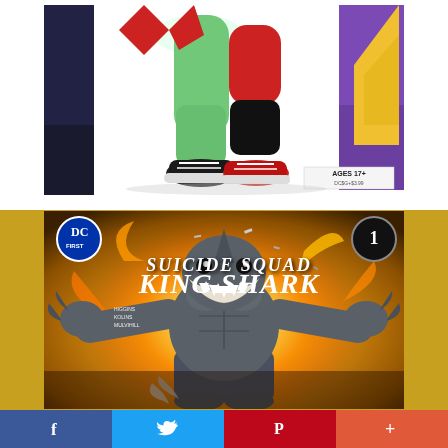[Figure (illustration): Partial view of comic book cover showing cartoon character legs - one in red and black stockings with a red sneaker, one in green with a black sneaker. Another character in purple visible at right. White background. Small text bottom right reads 'AGES 17+' with price.]
[Figure (illustration): Comic book cover 'Suicide Squad: King Shark' issue #1. DC First logo top left. Large muscular anthropomorphic shark character in grey skin with abs, raising arms, surrounded by fire/explosion. Golden/amber dramatic background. White distressed title text.]
[Figure (infographic): Social media sharing bar with four buttons: Facebook (blue with f icon), Twitter (light blue with bird icon), Pinterest (red with P icon), More/Plus (red-orange with + icon).]